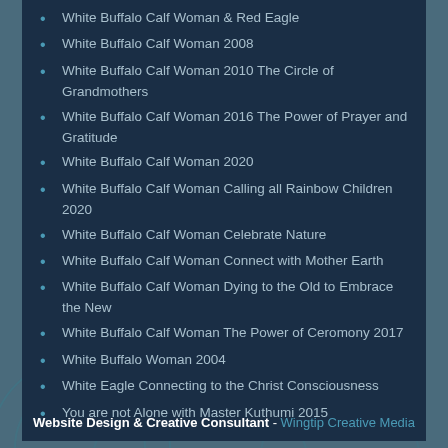White Buffalo Calf Woman & Red Eagle
White Buffalo Calf Woman 2008
White Buffalo Calf Woman 2010 The Circle of Grandmothers
White Buffalo Calf Woman 2016 The Power of Prayer and Gratitude
White Buffalo Calf Woman 2020
White Buffalo Calf Woman Calling all Rainbow Children 2020
White Buffalo Calf Woman Celebrate Nature
White Buffalo Calf Woman Connect with Mother Earth
White Buffalo Calf Woman Dying to the Old to Embrace the New
White Buffalo Calf Woman The Power of Ceromony 2017
White Buffalo Woman 2004
White Eagle Connecting to the Christ Consciousness
You are not Alone with Master Kuthumi 2015
Website Design & Creative Consultant - Wingtip Creative Media